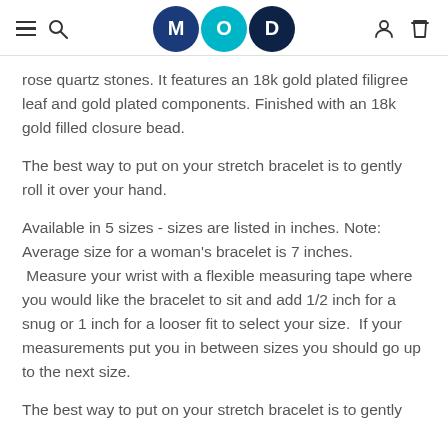MOD (logo header with navigation icons)
rose quartz stones. It features an 18k gold plated filigree leaf and gold plated components. Finished with an 18k gold filled closure bead.
The best way to put on your stretch bracelet is to gently roll it over your hand.
Available in 5 sizes - sizes are listed in inches. Note: Average size for a woman's bracelet is 7 inches.  Measure your wrist with a flexible measuring tape where you would like the bracelet to sit and add 1/2 inch for a snug or 1 inch for a looser fit to select your size.  If your measurements put you in between sizes you should go up to the next size.
The best way to put on your stretch bracelet is to gently